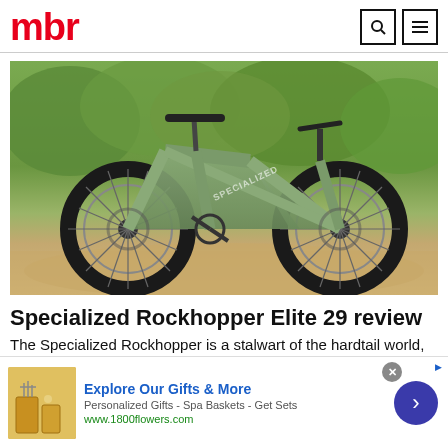mbr
[Figure (photo): Specialized Rockhopper Elite 29 mountain bike in sage green/olive colorway, parked on a sandy dirt surface with green foliage background]
Specialized Rockhopper Elite 29 review
The Specialized Rockhopper is a stalwart of the hardtail world, and the 29in version is well designed with an
[Figure (infographic): Advertisement banner: Explore Our Gifts & More - Personalized Gifts - Spa Baskets - Get Sets - www.1800flowers.com]